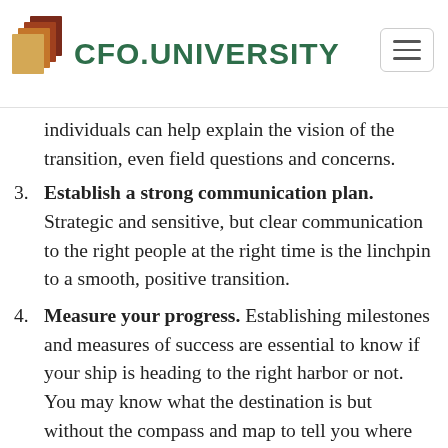CFO.UNIVERSITY
individuals can help explain the vision of the transition, even field questions and concerns.
3. Establish a strong communication plan. Strategic and sensitive, but clear communication to the right people at the right time is the linchpin to a smooth, positive transition.
4. Measure your progress. Establishing milestones and measures of success are essential to know if your ship is heading to the right harbor or not. You may know what the destination is but without the compass and map to tell you where you really are it is likely that you will not arrive where you had hoped.
5. Be transparent. Be as open and forthcoming as you can with your workforce that change is